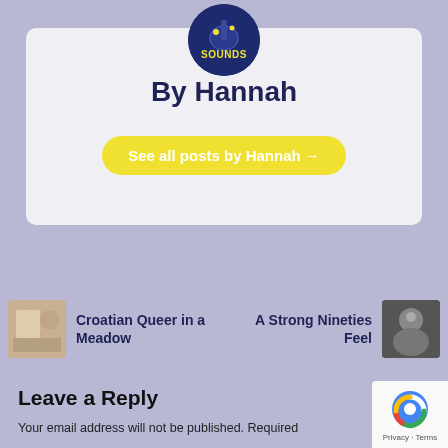[Figure (logo): Circular music blog logo with dark navy background, guitar/dots motif, and yellow 'Sounds' text]
By Hannah
See all posts by Hannah →
Croatian Queer in a Meadow
A Strong Nineties Feel
Leave a Reply
Your email address will not be published. Required